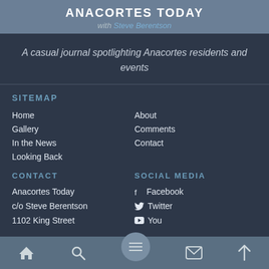ANACORTES TODAY
with Steve Berentson
A casual journal spotlighting Anacortes residents and events
SITEMAP
Home
Gallery
In the News
Looking Back
About
Comments
Contact
CONTACT
Anacortes Today
c/o Steve Berentson
1102 King Street
SOCIAL MEDIA
Facebook
Twitter
YouTube
Navigation bar with home, search, menu, mail, and up icons